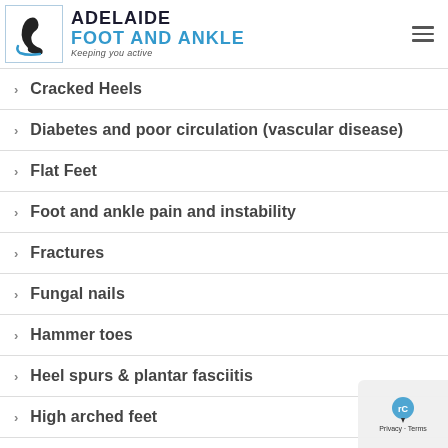Adelaide Foot and Ankle — Keeping you active
Cracked Heels
Diabetes and poor circulation (vascular disease)
Flat Feet
Foot and ankle pain and instability
Fractures
Fungal nails
Hammer toes
Heel spurs & plantar fasciitis
High arched feet